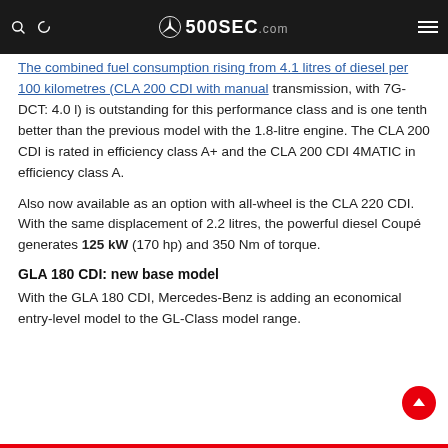500SEC.com
The combined fuel consumption rising from 4.1 litres of diesel per 100 kilometres (CLA 200 CDI with manual transmission, with 7G-DCT: 4.0 l) is outstanding for this performance class and is one tenth better than the previous model with the 1.8-litre engine. The CLA 200 CDI is rated in efficiency class A+ and the CLA 200 CDI 4MATIC in efficiency class A.
Also now available as an option with all-wheel is the CLA 220 CDI. With the same displacement of 2.2 litres, the powerful diesel Coupé generates 125 kW (170 hp) and 350 Nm of torque.
GLA 180 CDI: new base model
With the GLA 180 CDI, Mercedes-Benz is adding an economical entry-level model to the GL-Class model range.